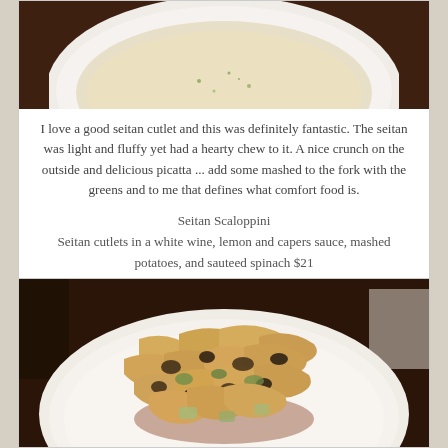[Figure (photo): Top portion of a white plate with creamy soup or sauce visible, on a dark wooden table background]
I love a good seitan cutlet and this was definitely fantastic.  The seitan was light and fluffy yet had a hearty chew to it.  A nice crunch on the outside and delicious picatta ... add some mashed to the fork with the greens and to me that defines what comfort food is.
Seitan Scaloppini
Seitan cutlets in a white wine, lemon and capers sauce, mashed potatoes, and sauteed spinach $21
[Figure (photo): A white plate filled with wide pasta noodles mixed with dark mushrooms, olives, and vegetables in a sauce]